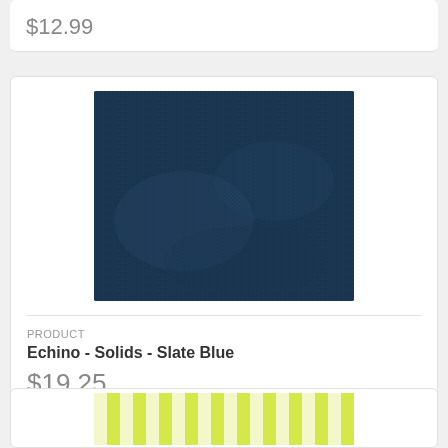$12.99
[Figure (photo): Close-up texture photograph of navy/slate blue solid fabric with visible linen weave pattern]
PRODUCT
Echino - Solids - Slate Blue
$19.25
[Figure (photo): Partial view of yellow-green gingham or striped fabric at bottom of page]